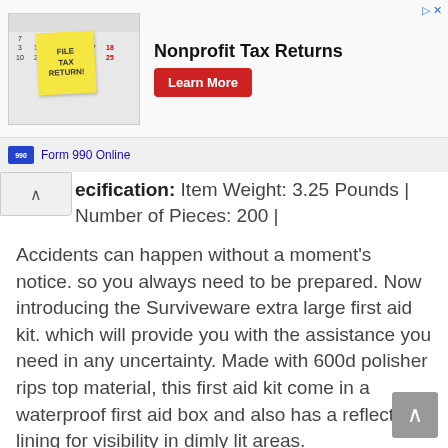[Figure (screenshot): Advertisement banner for Nonprofit Tax Returns (Form 990 Online) with a calendar image and sticky note, bold title 'Nonprofit Tax Returns', a red 'Learn More' button, and a 'Form 990 Online' footer link.]
ecification: Item Weight: 3.25 Pounds | Number of Pieces: 200 |
Accidents can happen without a moment's notice. so you always need to be prepared. Now introducing the Surviveware extra large first aid kit. which will provide you with the assistance you need in any uncertainty. Made with 600d polisher rips top material, this first aid kit come in a waterproof first aid box and also has a reflective lining for visibility in dimly lit areas.